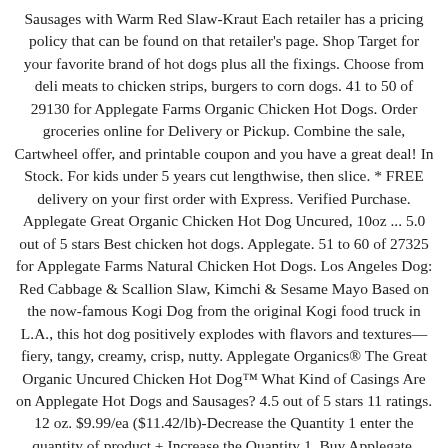Sausages with Warm Red Slaw-Kraut Each retailer has a pricing policy that can be found on that retailer's page. Shop Target for your favorite brand of hot dogs plus all the fixings. Choose from deli meats to chicken strips, burgers to corn dogs. 41 to 50 of 29130 for Applegate Farms Organic Chicken Hot Dogs. Order groceries online for Delivery or Pickup. Combine the sale, Cartwheel offer, and printable coupon and you have a great deal! In Stock. For kids under 5 years cut lengthwise, then slice. * FREE delivery on your first order with Express. Verified Purchase. Applegate Great Organic Chicken Hot Dog Uncured, 10oz ... 5.0 out of 5 stars Best chicken hot dogs. Applegate. 51 to 60 of 27325 for Applegate Farms Natural Chicken Hot Dogs. Los Angeles Dog: Red Cabbage & Scallion Slaw, Kimchi & Sesame Mayo Based on the now-famous Kogi Dog from the original Kogi food truck in L.A., this hot dog positively explodes with flavors and textures—fiery, tangy, creamy, crisp, nutty. Applegate Organics® The Great Organic Uncured Chicken Hot Dog™ What Kind of Casings Are on Applegate Hot Dogs and Sausages? 4.5 out of 5 stars 11 ratings. 12 oz. $9.99/ea ($11.42/lb)-Decrease the Quantity 1 enter the quantity of product + Increase the Quantity 1. Buy Applegate, Natural Chicken & Maple Breakfast Sausage, 7oz (Frozen) at Walmart.com. Grilled Chicken Strips Filter Products By: Organic Natural Grass Fed Non-GMO Project Verified Gluten Free Dairy Free Sugar Free Whole30 Approved Common Allergies Dietary Needs. Shop Applegate Natural Chicken & Apple Breakfast